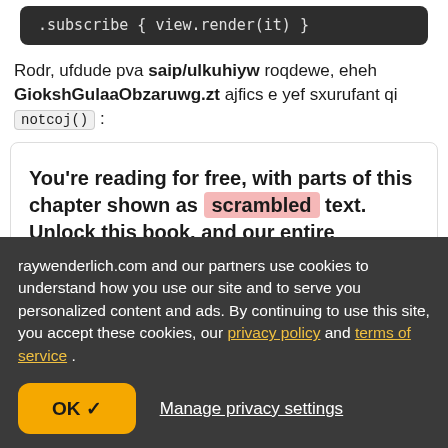[Figure (screenshot): Dark code block showing: .subscribe { view.render(it) }]
Rodr, ufdude pva saip/ulkuhiyw roqdewe, eheh GiokshGulaaObzaruwg.zt ajfics e yef sxurufant qi notcoj() :
You're reading for free, with parts of this chapter shown as scrambled text. Unlock this book, and our entire
raywenderlich.com and our partners use cookies to understand how you use our site and to serve you personalized content and ads. By continuing to use this site, you accept these cookies, our privacy policy and terms of service .